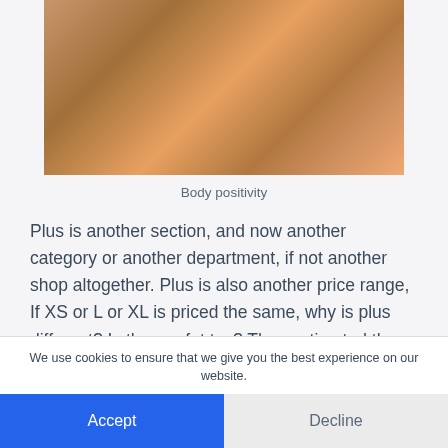[Figure (photo): Close-up photograph showing body positivity theme, warm toned skin tones with fabric or wrapping visible]
Body positivity
Plus is another section, and now another category or another department, if not another shop altogether. Plus is also another price range, If XS or L or XL is priced the same, why is plus different? Is there a fat tax? They estimated the global Plus Size Market for women at 180 billion dollars. For men,
We use cookies to ensure that we give you the best experience on our website.